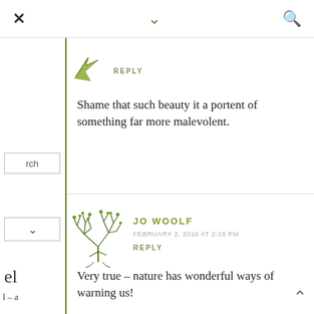[Figure (screenshot): Website UI top bar with X close button, chevron down, and search icon]
REPLY
Shame that such beauty it a portent of something far more malevolent.
JO WOOLF
FEBRUARY 2, 2016 AT 2:19 PM
REPLY
Very true – nature has wonderful ways of warning us!